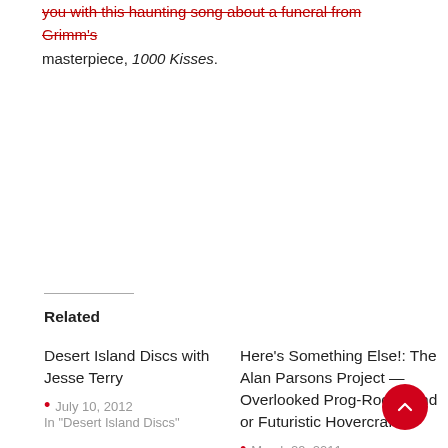you with this haunting song about a funeral from Grimm's masterpiece, 1000 Kisses.
Related
Desert Island Discs with Jesse Terry
• July 10, 2012
In "Desert Island Discs"
Here's Something Else!: The Alan Parsons Project — Overlooked Prog-Rock Band or Futuristic Hovercraft?
• March 29, 2011
In "Music"
Dw. Dunphy On… The Alan Parsons Project Reissued
• January 15, 2009
In "Dw. Dunphy On…"